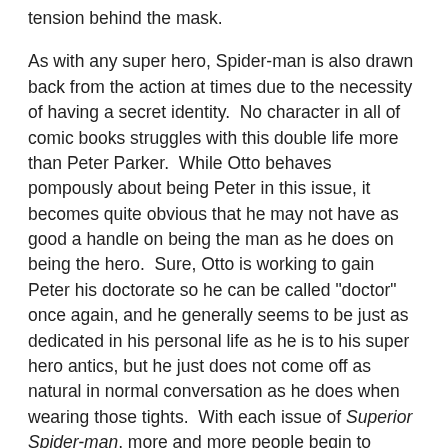tension behind the mask.
As with any super hero, Spider-man is also drawn back from the action at times due to the necessity of having a secret identity.  No character in all of comic books struggles with this double life more than Peter Parker.  While Otto behaves pompously about being Peter in this issue, it becomes quite obvious that he may not have as good a handle on being the man as he does on being the hero.  Sure, Otto is working to gain Peter his doctorate so he can be called "doctor" once again, and he generally seems to be just as dedicated in his personal life as he is to his super hero antics, but he just does not come off as natural in normal conversation as he does when wearing those tights.  With each issue of Superior Spider-man, more and more people begin to question the actions of Spidey, though most have shrugged it off as small misgivings with his morals are nothing if he is actually doing his job correctly.  In this issue, however, the pivotal move is made in the story where Mary Jane begins to question the way both Spider-man AND Peter have been acting.  MJ joins Carlie as two people who could potentially expose the Freaky Friday switcheroo that has happened